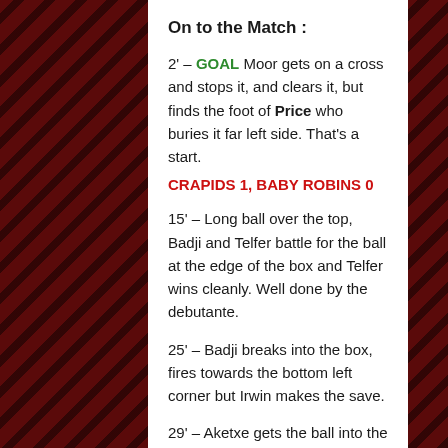On to the Match :
2' – GOAL Moor gets on a cross and stops it, and clears it, but finds the foot of Price who buries it far left side. That's a start.
CRAPIDS 1, BABY ROBINS 0
15' – Long ball over the top, Badji and Telfer battle for the ball at the edge of the box and Telfer wins cleanly. Well done by the debutante.
25' – Badji breaks into the box, fires towards the bottom left corner but Irwin makes the save.
29' – Aketxe gets the ball into the